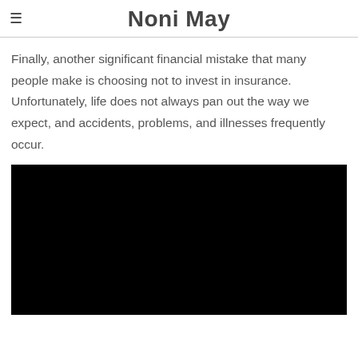Noni May
Finally, another significant financial mistake that many people make is choosing not to invest in insurance. Unfortunately, life does not always pan out the way we expect, and accidents, problems, and illnesses frequently occur.
[Figure (photo): Black image placeholder, likely a photo related to insurance or financial topics]